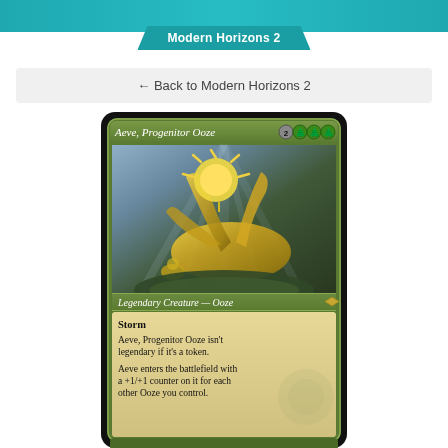Modern Horizons 2
← Back to Modern Horizons 2
[Figure (illustration): Magic: The Gathering card 'Aeve, Progenitor Ooze' from Modern Horizons 2. Legendary Creature — Ooze with mana cost 2GGG. Card shows a golden glowing ooze creature in a forest. Card text: Storm. Aeve, Progenitor Ooze isn't legendary if it's a token. Aeve enters the battlefield with a +1/+1 counter on it for each other Ooze you control.]